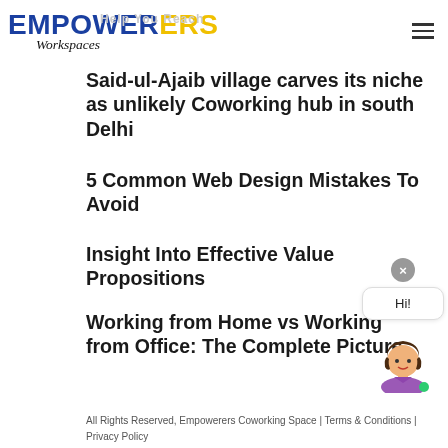[Figure (logo): Empowerers Workspaces logo — bold blue EMPOWER, yellow ERS, italic Workspaces below]
Said-ul-Ajaib village carves its niche as unlikely Coworking hub in south Delhi
5 Common Web Design Mistakes To Avoid
Insight Into Effective Value Propositions
Working from Home vs Working from Office: The Complete Picture
[Figure (illustration): Chat widget with close button (×), Hi! speech bubble, and female avatar with brown hair]
All Rights Reserved, Empowerers Coworking Space | Terms & Conditions | Privacy Policy